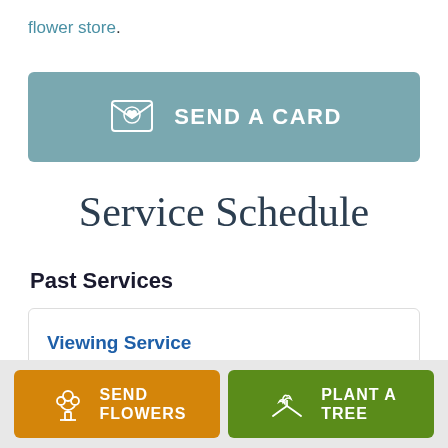flower store.
[Figure (other): Send a Card button with card/heart icon on teal background]
Service Schedule
Past Services
Viewing Service
[Figure (other): Send Flowers button (orange) with flower bouquet icon and Plant a Tree button (green) with seedling/hand icon in bottom action bar]